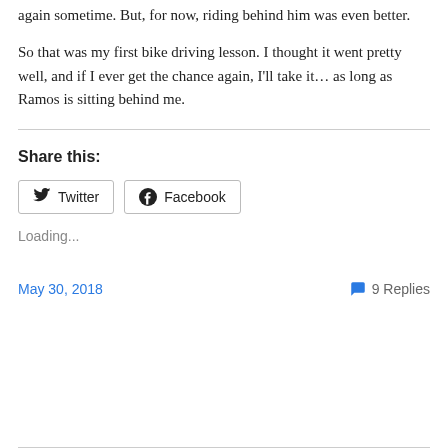again sometime. But, for now, riding behind him was even better.
So that was my first bike driving lesson. I thought it went pretty well, and if I ever get the chance again, I'll take it… as long as Ramos is sitting behind me.
Share this:
[Figure (other): Twitter and Facebook share buttons]
Loading...
May 30, 2018
9 Replies